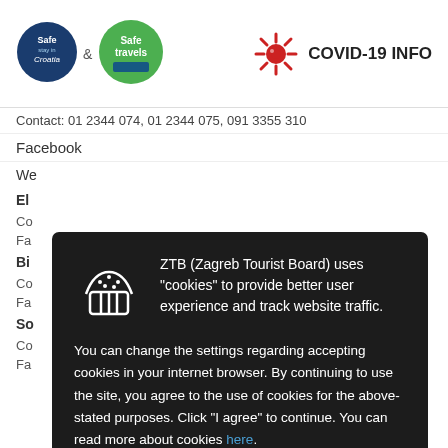[Figure (logo): Safe Stay in Croatia logo (dark blue circle) and Safe Travels logo (green circle) with ampersand between them]
[Figure (infographic): Red COVID-19 virus icon with text COVID-19 INFO]
Contact: 01 2344 074, 01 2344 075, 091 3355 310
Facebook
We
El
Co
Fa
Bi
Co
Fa
So
Co
Fa
[Figure (screenshot): Cookie consent modal dialog on dark background. Contains cookie/muffin icon, text: ZTB (Zagreb Tourist Board) uses 'cookies' to provide better user experience and track website traffic. You can change the settings regarding accepting cookies in your internet browser. By continuing to use the site, you agree to the use of cookies for the above-stated purposes. Click 'I agree' to continue. You can read more about cookies here. Button: I Agree]